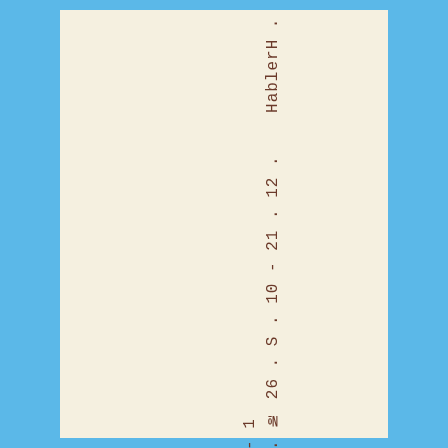. № 26 . S . 10 - 21 . 12 . HablerH . - 1